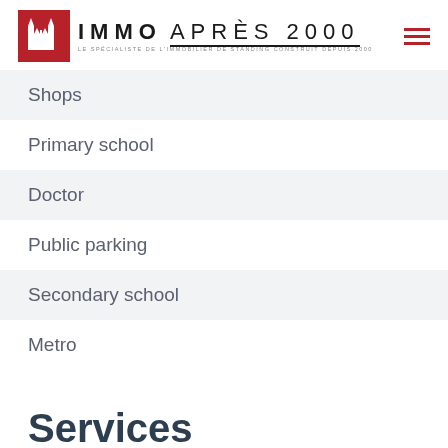IMMO APRÈS 2000 — LE SPÉCIALISTE DE L'IMMOBILIER DE STANDING CONSTRUIT DEPUIS 2000
Shops
Primary school
Doctor
Public parking
Secondary school
Metro
Services